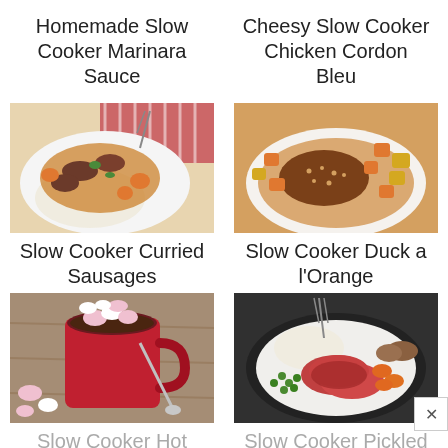Homemade Slow Cooker Marinara Sauce
Cheesy Slow Cooker Chicken Cordon Bleu
[Figure (photo): Bowl of slow cooker curried sausages with vegetables over rice on a white plate with colorful napkin]
Slow Cooker Curried Sausages
[Figure (photo): Slow cooker duck a l'Orange with vegetables on a white plate]
Slow Cooker Duck a l'Orange
[Figure (photo): Red mug of hot chocolate topped with mini marshmallows on a wooden board with extra marshmallows scattered around]
Slow Cooker Hot Chocolate
[Figure (photo): Plate of slow cooker pickled pork with mashed potatoes, peas, carrots and mushrooms]
Slow Cooker Pickled Pork